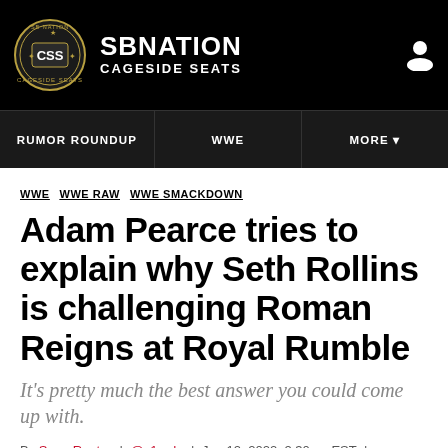SBNation Cageside Seats
RUMOR ROUNDUP | WWE | MORE
WWE  WWE RAW  WWE SMACKDOWN
Adam Pearce tries to explain why Seth Rollins is challenging Roman Reigns at Royal Rumble
It's pretty much the best answer you could come up with.
By Sean Rueter | @s1rude | Jan 12, 2022, 2:30pm EST | 20 Comments / 20 New